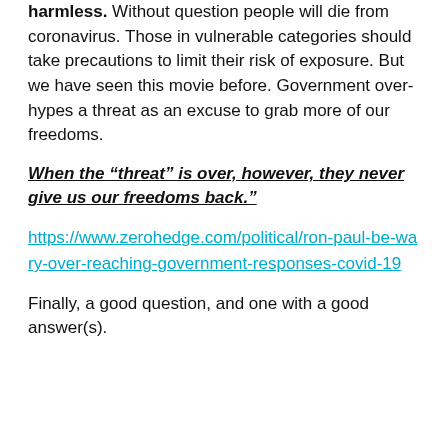harmless. Without question people will die from coronavirus. Those in vulnerable categories should take precautions to limit their risk of exposure. But we have seen this movie before. Government over-hypes a threat as an excuse to grab more of our freedoms.
When the “threat” is over, however, they never give us our freedoms back.”
https://www.zerohedge.com/political/ron-paul-be-wary-over-reaching-government-responses-covid-19
Finally, a good question, and one with a good answer(s).